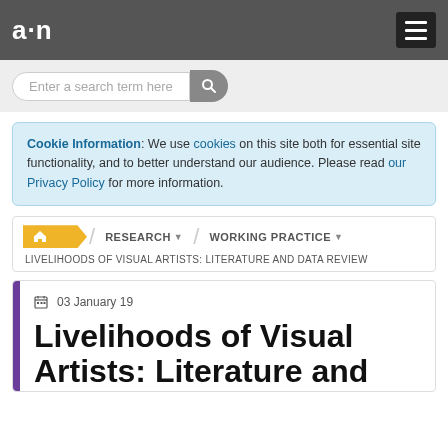a·n
Enter a search term here
Cookie Information: We use cookies on this site both for essential site functionality, and to better understand our audience. Please read our Privacy Policy for more information.
RESEARCH  WORKING PRACTICE  LIVELIHOODS OF VISUAL ARTISTS: LITERATURE AND DATA REVIEW
03 January 19
Livelihoods of Visual Artists: Literature and